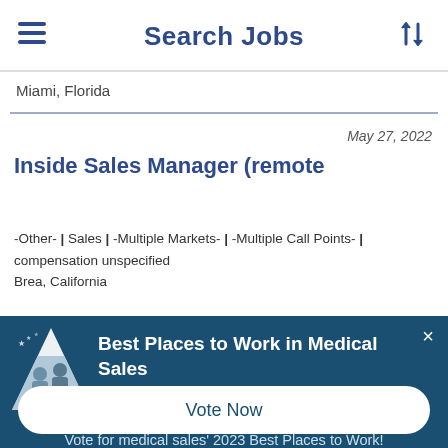Search Jobs
Miami, Florida
May 27, 2022
Inside Sales Manager (remote
-Other- | Sales | -Multiple Markets- | -Multiple Call Points- | compensation unspecified
Brea, California
[Figure (illustration): Best Places to Work in Medical Sales award logo with triangle shape containing image of people]
Best Places to Work in Medical Sales
Vote for medical sales' 2023 Best Places to Work!
Vote Now